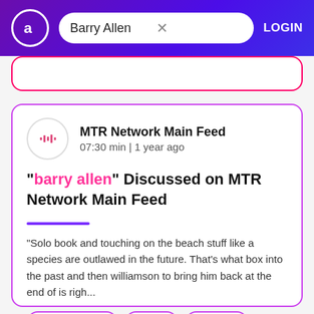Barry Allen  LOGIN
"barry allen" Discussed on MTR Network Main Feed
MTR Network Main Feed
07:30 min | 1 year ago
"Solo book and touching on the beach stuff like a species are outlawed in the future. That's what box into the past and then williamson to bring him back at the end of is righ...
umberto ramos
Jessie
alabama